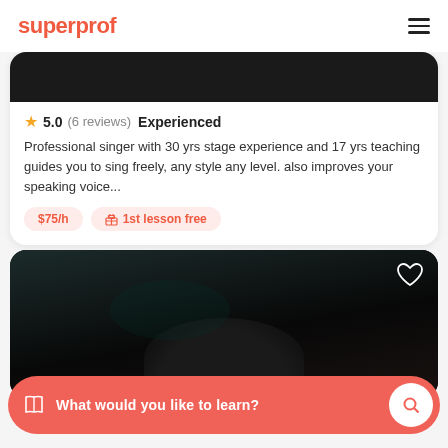superprof
5.0 (6 reviews) Experienced
Professional singer with 30 yrs stage experience and 17 yrs teaching guides you to sing freely, any style any level. also improves your speaking voice...
$75/h   1st lesson free
[Figure (photo): Dark background instructor photo partially visible in second card]
What would you like to learn?